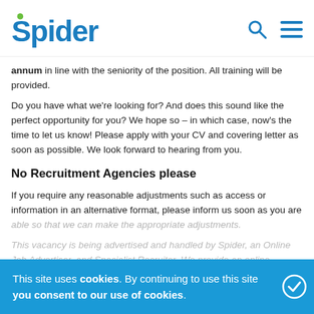Spider [logo] [search icon] [menu icon]
annum in line with the seniority of the position. All training will be provided.
Do you have what we're looking for? And does this sound like the perfect opportunity for you? We hope so – in which case, now's the time to let us know! Please apply with your CV and covering letter as soon as possible. We look forward to hearing from you.
No Recruitment Agencies please
If you require any reasonable adjustments such as access or information in an alternative format, please inform us soon as you are able so that we can make the appropriate adjustments.
This vacancy is being advertised and handled by Spider, an Online Job Advertiser, and Specialist Recruiter. We provide an online recruitment advertising and employee selection service
This site uses cookies. By continuing to use this site you consent to our use of cookies.